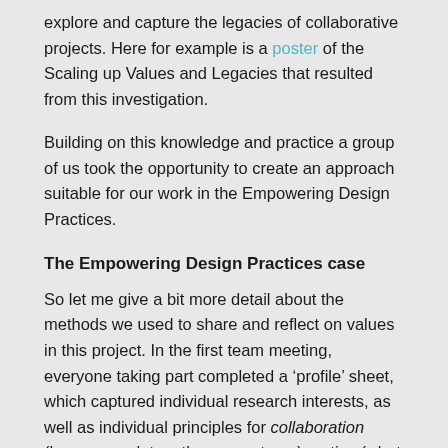explore and capture the legacies of collaborative projects. Here for example is a poster of the Scaling up Values and Legacies that resulted from this investigation.
Building on this knowledge and practice a group of us took the opportunity to create an approach suitable for our work in the Empowering Design Practices.
The Empowering Design Practices case
So let me give a bit more detail about the methods we used to share and reflect on values in this project. In the first team meeting, everyone taking part completed a ‘profile’ sheet, which captured individual research interests, as well as individual principles for collaboration (how we work together as partners), action (what values guide project activities) and success (what makes a good research project). Similar profiles were used in the Scaling up project but were adapted here to help reflect more specifically on values and expected benefits (value).